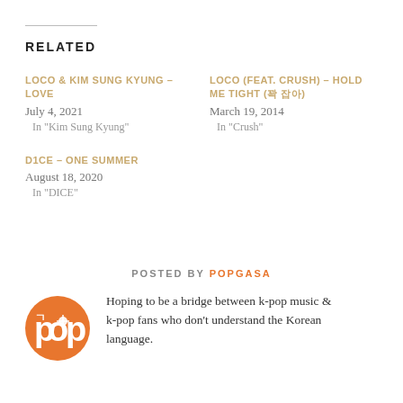RELATED
LOCO & KIM SUNG KYUNG – LOVE
July 4, 2021
In "Kim Sung Kyung"
LOCO (FEAT. CRUSH) – HOLD ME TIGHT (꽉 잡아)
March 19, 2014
In "Crush"
D1CE – ONE SUMMER
August 18, 2020
In "DICE"
POSTED BY POPGASA
Hoping to be a bridge between k-pop music & k-pop fans who don't understand the Korean language.